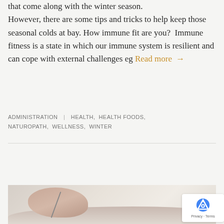that come along with the winter season. However, there are some tips and tricks to help keep those seasonal colds at bay. How immune fit are you?  Immune fitness is a state in which our immune system is resilient and can cope with external challenges eg Read more →
ADMINISTRATION  |  HEALTH,  HEALTH FOODS,  NATUROPATH,  WELLNESS,  WINTER
FEBRUARY 21, 2022
[Figure (photo): Photo of a person receiving acupuncture treatment on their shoulder/neck area, with a hand visible holding an acupuncture needle]